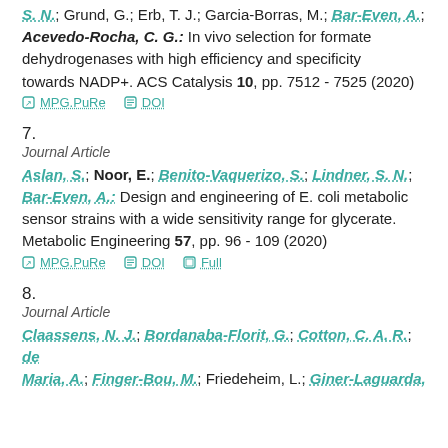S. N.; Grund, G.; Erb, T. J.; Garcia-Borras, M.; Bar-Even, A.; Acevedo-Rocha, C. G.: In vivo selection for formate dehydrogenases with high efficiency and specificity towards NADP+. ACS Catalysis 10, pp. 7512 - 7525 (2020)
⊘ MPG.PuRe  ≡ DOI
7.
Journal Article
Aslan, S.; Noor, E.; Benito-Vaquerizo, S.; Lindner, S. N.; Bar-Even, A.: Design and engineering of E. coli metabolic sensor strains with a wide sensitivity range for glycerate. Metabolic Engineering 57, pp. 96 - 109 (2020)
⊘ MPG.PuRe  ≡ DOI  ▭ Full
8.
Journal Article
Claassens, N. J.; Bordanaba-Florit, G.; Cotton, C. A. R.; de Maria, A.; Finger-Bou, M.; Friedeheim, L.; Giner-Laguarda,